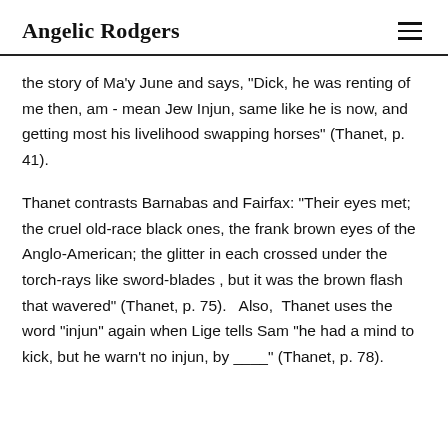Angelic Rodgers
the story of Ma'y June and says, "Dick, he was renting of me then, am - mean Jew Injun, same like he is now, and getting most his livelihood swapping horses" (Thanet, p. 41).
Thanet contrasts Barnabas and Fairfax: "Their eyes met; the cruel old-race black ones, the frank brown eyes of the Anglo-American; the glitter in each crossed under the torch-rays like sword-blades , but it was the brown flash that wavered" (Thanet, p. 75).   Also,  Thanet uses the word "injun" again when Lige tells Sam "he had a mind to kick, but he warn't no injun, by ____" (Thanet, p. 78).